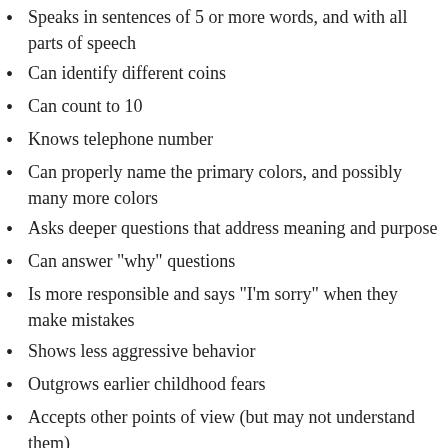Speaks in sentences of 5 or more words, and with all parts of speech
Can identify different coins
Can count to 10
Knows telephone number
Can properly name the primary colors, and possibly many more colors
Asks deeper questions that address meaning and purpose
Can answer "why" questions
Is more responsible and says "I'm sorry" when they make mistakes
Shows less aggressive behavior
Outgrows earlier childhood fears
Accepts other points of view (but may not understand them)